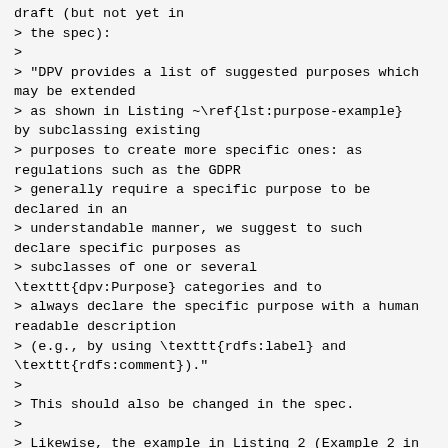draft (but not yet in
> the spec):
>
> "DPV provides a list of suggested purposes which may be extended
> as shown in Listing ~\ref{lst:purpose-example} by subclassing existing
> purposes to create more specific ones: as regulations such as the GDPR
> generally require a specific purpose to be declared in an
> understandable manner, we suggest to such declare specific purposes as
> subclasses of one or several \texttt{dpv:Purpose} categories and to
> always declare the specific purpose with a human readable description
> (e.g., by using \texttt{rdfs:label} and \texttt{rdfs:comment})."
>
> This should also be changed in the spec.
>
> Likewise, the example in Listing 2 (Example 2 in the spec) uses
> instantiation instead of subclassing...
>
> :SomePurpose a dpv:Purpose ;
>         rdfs:label "Some Purpose" ;
>         dpv:hasSector dpv-nace:M72